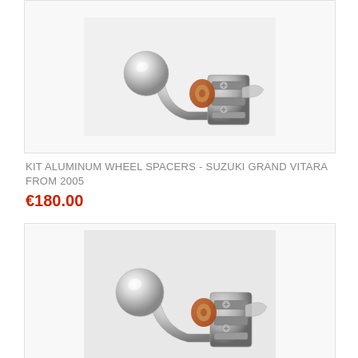[Figure (photo): Photo of a chrome tow hitch ball and mount assembly, showing the ball, neck, and mounting bracket with fasteners on a white background]
KIT ALUMINUM WHEEL SPACERS - SUZUKI GRAND VITARA FROM 2005
€180.00
[Figure (photo): Photo of a chrome tow hitch ball and mount assembly, similar to the first image, showing ball, neck, and mounting bracket with fasteners on a light background]